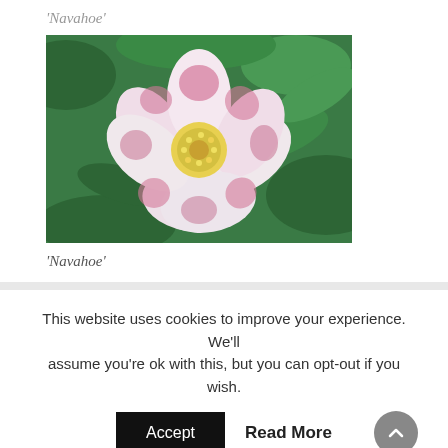‘Navahoe’
[Figure (photo): Close-up photograph of a Navahoe flower with white and pink petals and yellow stamens, surrounded by green leaves]
‘Navahoe’
This website uses cookies to improve your experience. We’ll assume you’re ok with this, but you can opt-out if you wish.
Accept   Read More